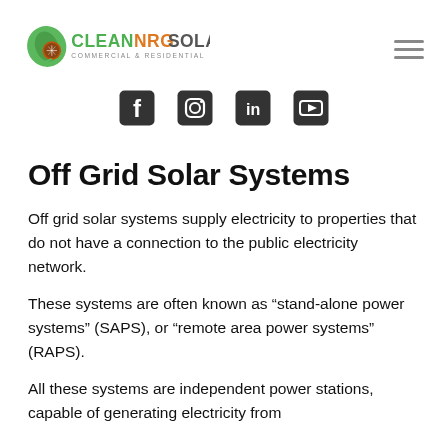[Figure (logo): Clean NRG Solar logo — green leaf with solar panel motif, bold green text CLEAN, orange NRG, grey SOLAR, subtitle COMMERCIAL & RESIDENTIAL]
[Figure (infographic): Four social media icons: Facebook, Instagram, LinkedIn, YouTube — rounded square style in dark grey]
Off Grid Solar Systems
Off grid solar systems supply electricity to properties that do not have a connection to the public electricity network.
These systems are often known as “stand-alone power systems” (SAPS), or “remote area power systems” (RAPS).
All these systems are independent power stations, capable of generating electricity from…